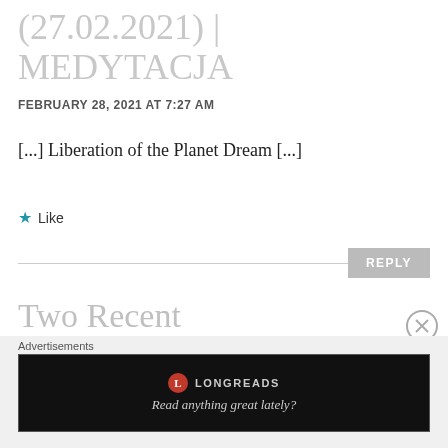(27.02.2021) | MEDYTACJA
FEBRUARY 28, 2021 AT 7:27 AM
[...] Liberation of the Planet Dream [...]
★ Like
REPLY
Two Recent Updates from FM 144 | Forever
Advertisements
[Figure (screenshot): Longreads advertisement banner with logo and tagline 'Read anything great lately?']